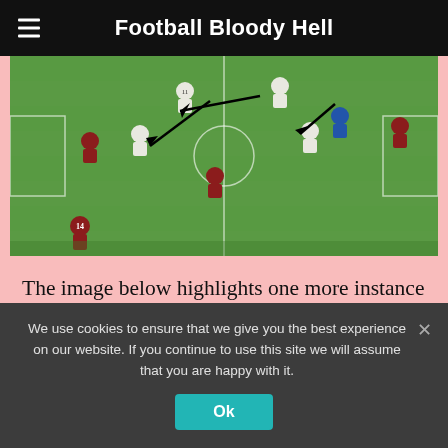Football Bloody Hell
[Figure (photo): Screenshot of a football match showing players on a pitch with tactical arrows drawn over it, illustrating defensive positioning.]
The image below highlights one more instance of Genoa's low defensive block, the lines were narrow and there was not a lot of space between the defensive and the midfield line, we can also see
We use cookies to ensure that we give you the best experience on our website. If you continue to use this site we will assume that you are happy with it.